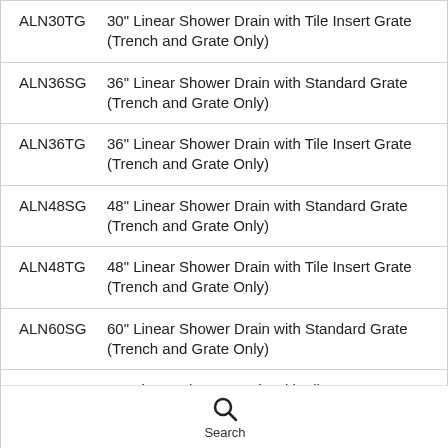ALN30TG  30" Linear Shower Drain with Tile Insert Grate (Trench and Grate Only)
ALN36SG  36" Linear Shower Drain with Standard Grate (Trench and Grate Only)
ALN36TG  36" Linear Shower Drain with Tile Insert Grate (Trench and Grate Only)
ALN48SG  48" Linear Shower Drain with Standard Grate (Trench and Grate Only)
ALN48TG  48" Linear Shower Drain with Tile Insert Grate (Trench and Grate Only)
ALN60SG  60" Linear Shower Drain with Standard Grate (Trench and Grate Only)
ALN60TG  60" Linear Shower Drain with Tile Insert Grate (Trench and Grate Only)
Search